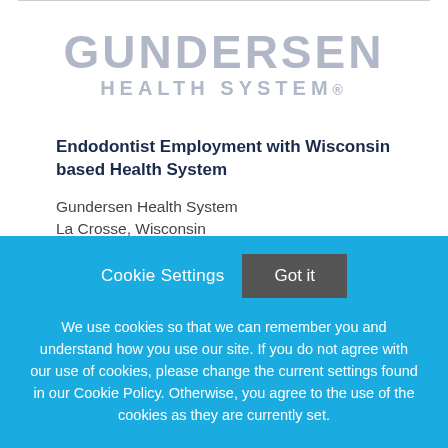[Figure (logo): Gundersen Health System logo in light grey/blue text]
Endodontist Employment with Wisconsin based Health System
Gundersen Health System
La Crosse, Wisconsin
Cookie Settings  Got it
We use cookies so that we can remember you and understand how you use our site. If you do not agree with our use of cookies, please change the current settings found in our Cookie Policy. Otherwise, you agree to the use of the cookies as they are currently set.